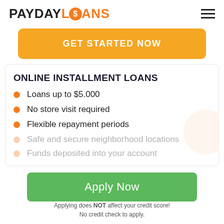PAYDAYLOANS
GET STARTED NOW
ONLINE INSTALLMENT LOANS
Loans up to $5.000
No store visit required
Flexible repayment periods
Safe and secure neighborhood locations
Funds deposited into your account
Apply Now
Applying does NOT affect your credit score!
No credit check to apply.